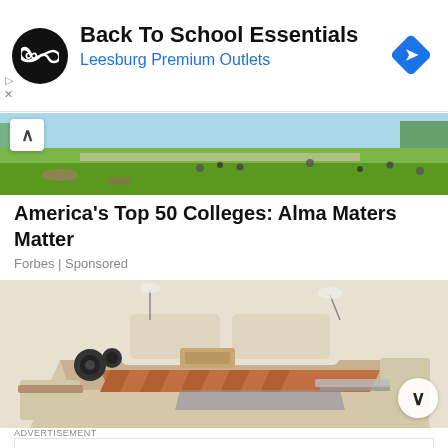[Figure (infographic): Advertisement banner: Back To School Essentials - Leesburg Premium Outlets with infinity logo and navigation icon]
[Figure (photo): Campus green with students relaxing and walking on lawn]
America's Top 50 Colleges: Alma Maters Matter
Forbes | Sponsored
[Figure (photo): Modern luxury bed with built-in speakers, storage, and laptop stand]
ADVERTISEMENT
[Figure (infographic): Advertisement banner: Back To School Shopping Deals - Leesburg Premium Outlets with infinity logo and navigation icon]